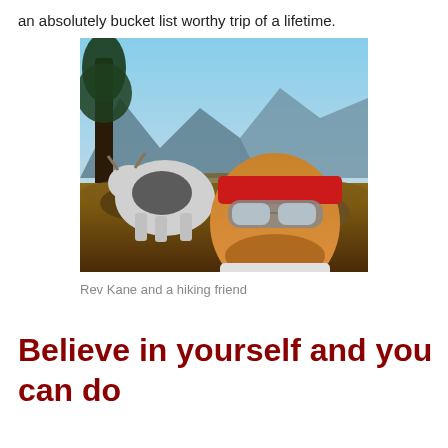an absolutely bucket list worthy trip of a lifetime.
[Figure (photo): A man wearing a red bandana headband and reflective goggles takes a selfie outdoors on a mountain trail with a black and white yak standing behind him. Trees and mountain scenery are visible in the background under a blue sky.]
Rev Kane and a hiking friend
Believe in yourself and you can do anything